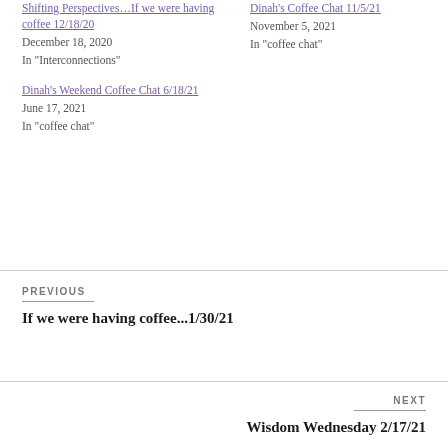Shifting Perspectives…If we were having coffee 12/18/20
December 18, 2020
In "Interconnections"
Dinah's Coffee Chat 11/5/21
November 5, 2021
In "coffee chat"
Dinah's Weekend Coffee Chat 6/18/21
June 17, 2021
In "coffee chat"
PREVIOUS
If we were having coffee...1/30/21
NEXT
Wisdom Wednesday 2/17/21